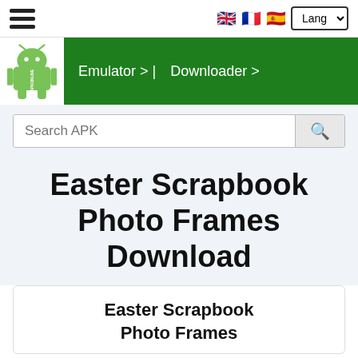Emulator > | Downloader >
[Figure (screenshot): APK Online website header with hamburger menu, language flags (UK, France, Spain), Lang dropdown, Android robot logo, green navigation bar with Emulator and Downloader links, and search bar]
Easter Scrapbook Photo Frames Download
Easter Scrapbook Photo Frames